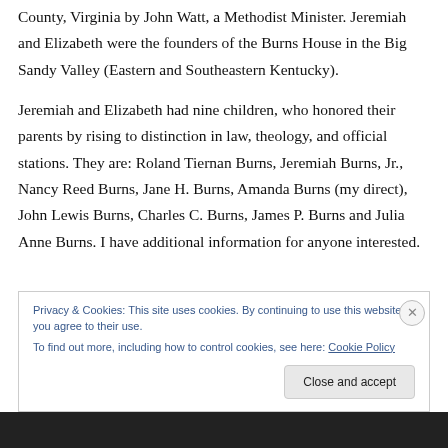County, Virginia by John Watt, a Methodist Minister. Jeremiah and Elizabeth were the founders of the Burns House in the Big Sandy Valley (Eastern and Southeastern Kentucky).
Jeremiah and Elizabeth had nine children, who honored their parents by rising to distinction in law, theology, and official stations. They are: Roland Tiernan Burns, Jeremiah Burns, Jr., Nancy Reed Burns, Jane H. Burns, Amanda Burns (my direct), John Lewis Burns, Charles C. Burns, James P. Burns and Julia Anne Burns. I have additional information for anyone interested.
Privacy & Cookies: This site uses cookies. By continuing to use this website, you agree to their use.
To find out more, including how to control cookies, see here: Cookie Policy